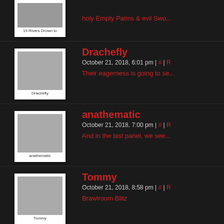19 Rivers Drown to | holy Empty Palms & evil Swo...
Drachefly | October 21, 2018, 6:01 pm | # | R | Their eagerness is going to se...
anathematic | October 21, 2018, 7:00 pm | # | R | And in the last panel, we see...
Tommy | October 21, 2018, 8:58 pm | # | R | Brawlroom Blitz
Apollyon | October 21, 2018, 9:41 pm | # | R | ORCBOLG, BREADCUTTER THE MANY NAMES OF AL-Y...
Strix | October 21, 2018, 10:12 pm | #...